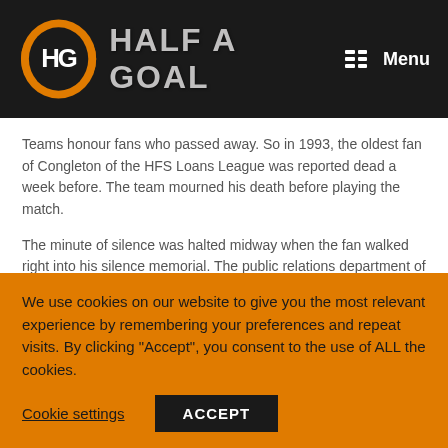HALF A GOAL
Teams honour fans who passed away. So in 1993, the oldest fan of Congleton of the HFS Loans League was reported dead a week before. The team mourned his death before playing the match.
The minute of silence was halted midway when the fan walked right into his silence memorial. The public relations department of the club immediately cancelled the memorial.
3) One versus one
We use cookies on our website to give you the most relevant experience by remembering your preferences and repeat visits. By clicking “Accept”, you consent to the use of ALL the cookies.
Cookie settings
ACCEPT